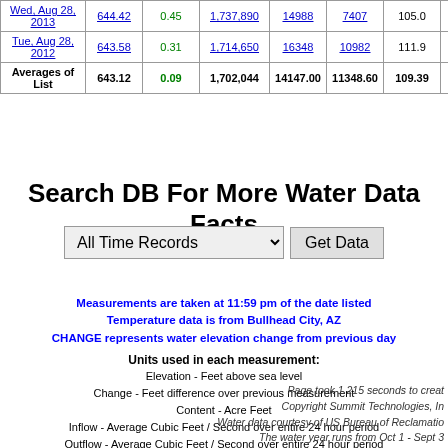| Date | Elevation | Change | Content | Inflow | Outflow | High Temp | Low Temp |
| --- | --- | --- | --- | --- | --- | --- | --- |
| Wed, Aug 28, 2013 | 644.42 | 0.45 | 1,737,890 | 14988 | 7407 | 105.0 | 86.0 |
| Tue, Aug 28, 2012 | 643.58 | 0.31 | 1,714,650 | 16348 | 10982 | 111.9 | 84.0 |
| Averages of List | 643.12 | 0.09 | 1,702,044 | 14147.00 | 11348.60 | 109.39 | 83.20 |
Search DB For More Water Data Facts
All Time Records (dropdown) | Get Data (button)
Measurements are taken at 11:59 pm of the date listed
Temperature data is from Bullhead City, AZ
CHANGE represents water elevation change from previous day
Units used in each measurement:
Elevation - Feet above sea level
Change - Feet difference over previous measurement
Content - Acre Feet
Inflow - Average Cubic Feet / Second over entire 24 hour period
Outflow - Average Cubic Feet / Second over entire 24 hour period
All Temps - Degrees Farhenheit
The Water Year runs from October 1 to September 30 of the next year
Acre Feet = 1 * Flow CFS
TP = Total Precipitation
Page took 1.215 seconds to create
Copyright Summit Technologies, In
Water data courtesy of US Bureau of Reclamatio
The water year runs from Oct 1 - Sept 3